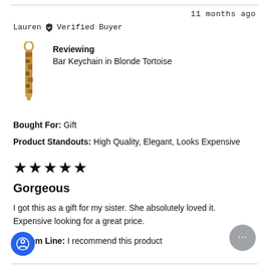11 months ago
Lauren  Verified Buyer
[Figure (photo): Product photo of Bar Keychain in Blonde Tortoise — a slim vertical bar keychain in brown tortoise pattern with gold hardware]
Reviewing
Bar Keychain in Blonde Tortoise
Bought For: Gift
Product Standouts: High Quality, Elegant, Looks Expensive
★★★★★
Gorgeous
I got this as a gift for my sister. She absolutely loved it. Expensive looking for a great price.
Bottom Line: I recommend this product